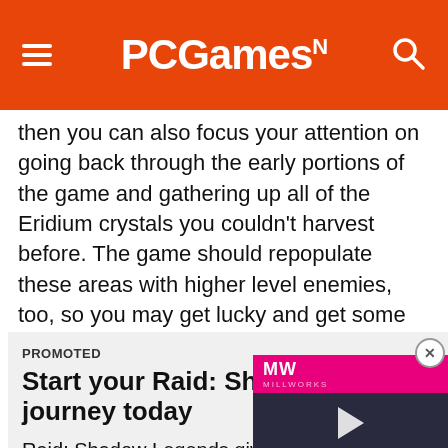PCGamesN
then you can also focus your attention on going back through the early portions of the game and gathering up all of the Eridium crystals you couldn't harvest before. The game should repopulate these areas with higher level enemies, too, so you may get lucky and get some of the purple currency from them while you're at it.
PROMOTED
Start your Raid: Shadow Legends journey today
Raid: Shadow Legends gives you the chance to assemble a team of heroes and send them on a quest that brings them through a series of dungeons fought through turn-based RPG battles. With an enormous playerbase, tons of champions to unlock, and levels to work your way through, it's something
[Figure (screenshot): Video player overlay showing MW logo on pink/magenta background and dark area with play button, with text 'ALONE IN THE DARK REMAKE']